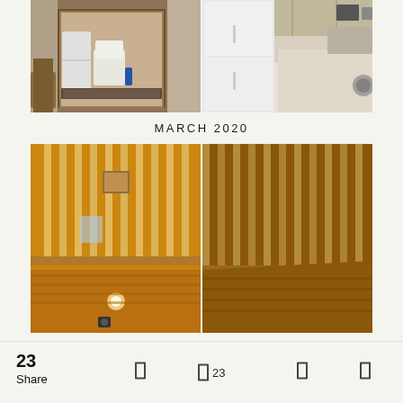[Figure (photo): Two interior house photos side by side: left shows a bathroom/laundry room with toilet, stacked washer/dryer, and patterned floor mat; right shows a white kitchen with countertop, sink, stove, and appliances.]
MARCH 2020
[Figure (photo): Two interior photos side by side showing a wood-railed loft/balcony area with vertical wooden balusters, warm orange-toned wood ceiling and walls; left photo shows view looking down from loft, right photo shows similar angle with furniture visible below.]
23 Share  □  □ 23  □  □